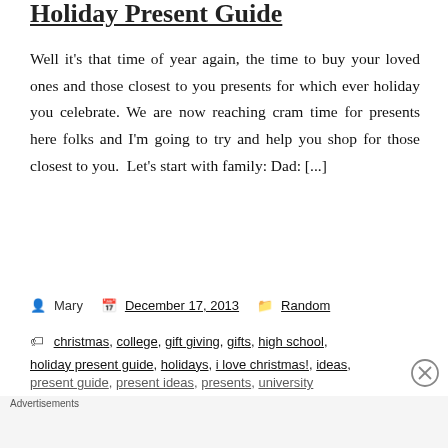Holiday Present Guide
Well it's that time of year again, the time to buy your loved ones and those closest to you presents for which ever holiday you celebrate. We are now reaching cram time for presents here folks and I'm going to try and help you shop for those closest to you.  Let's start with family: Dad: [...]
Mary  December 17, 2013  Random
christmas, college, gift giving, gifts, high school, holiday present guide, holidays, i love christmas!, ideas, present guide, present ideas, presents, university
[Figure (screenshot): DuckDuckGo advertisement banner: 'Search, browse, and email with more privacy. All in One Free App' on orange background with DuckDuckGo logo on dark background]